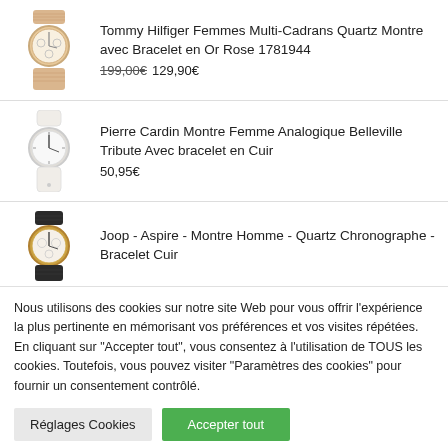[Figure (illustration): Tommy Hilfiger rose gold mesh bracelet watch]
Tommy Hilfiger Femmes Multi-Cadrans Quartz Montre avec Bracelet en Or Rose 1781944
199,00€ 129,90€
[Figure (illustration): Pierre Cardin white leather strap analog watch]
Pierre Cardin Montre Femme Analogique Belleville Tribute Avec bracelet en Cuir
50,95€
[Figure (illustration): Joop Aspire men's watch with black leather strap and gold case]
Joop - Aspire - Montre Homme - Quartz Chronographe -Bracelet Cuir
Nous utilisons des cookies sur notre site Web pour vous offrir l'expérience la plus pertinente en mémorisant vos préférences et vos visites répétées. En cliquant sur "Accepter tout", vous consentez à l'utilisation de TOUS les cookies. Toutefois, vous pouvez visiter "Paramètres des cookies" pour fournir un consentement contrôlé.